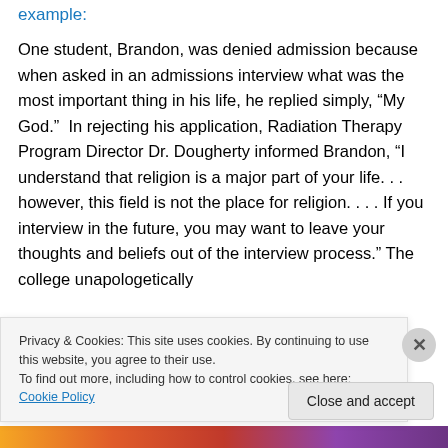example:
One student, Brandon, was denied admission because when asked in an admissions interview what was the most important thing in his life, he replied simply, “My God.”  In rejecting his application, Radiation Therapy Program Director Dr. Dougherty informed Brandon, “I understand that religion is a major part of your life. . . however, this field is not the place for religion. . . . If you interview in the future, you may want to leave your thoughts and beliefs out of the interview process.” The college unapologetically
Privacy & Cookies: This site uses cookies. By continuing to use this website, you agree to their use.
To find out more, including how to control cookies, see here: Cookie Policy